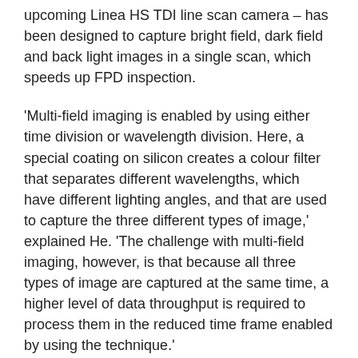upcoming Linea HS TDI line scan camera – has been designed to capture bright field, dark field and back light images in a single scan, which speeds up FPD inspection.
'Multi-field imaging is enabled by using either time division or wavelength division. Here, a special coating on silicon creates a colour filter that separates different wavelengths, which have different lighting angles, and that are used to capture the three different types of image,' explained He. 'The challenge with multi-field imaging, however, is that because all three types of image are captured at the same time, a higher level of data throughput is required to process them in the reduced time frame enabled by using the technique.'
To meet the increased data throughput requirements of multi-field imaging, Teledyne Dalsa developed Camera Link HS, which incorporates fibre optics. The high-speed interface enables the Linea ML and upcoming Linea HS camera to transmit data at 5GB/s, according to He, approximately six times faster than the data